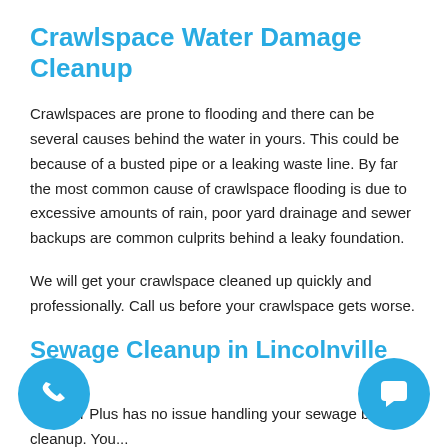Crawlspace Water Damage Cleanup
Crawlspaces are prone to flooding and there can be several causes behind the water in yours. This could be because of a busted pipe or a leaking waste line. By far the most common cause of crawlspace flooding is due to excessive amounts of rain, poor yard drainage and sewer backups are common culprits behind a leaky foundation.
We will get your crawlspace cleaned up quickly and professionally. Call us before your crawlspace gets worse.
Sewage Cleanup in Lincolnville SC
Disaster Plus has no issue handling your sewage backup cleanup. Your sewage...